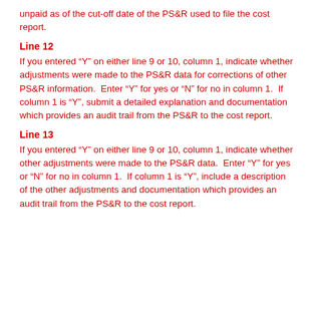unpaid as of the cut-off date of the PS&R used to file the cost report.
Line 12
If you entered “Y” on either line 9 or 10, column 1, indicate whether adjustments were made to the PS&R data for corrections of other PS&R information.  Enter “Y” for yes or “N” for no in column 1.  If column 1 is “Y”, submit a detailed explanation and documentation which provides an audit trail from the PS&R to the cost report.
Line 13
If you entered “Y” on either line 9 or 10, column 1, indicate whether other adjustments were made to the PS&R data.  Enter “Y” for yes or “N” for no in column 1.  If column 1 is “Y”, include a description of the other adjustments and documentation which provides an audit trail from the PS&R to the cost report.